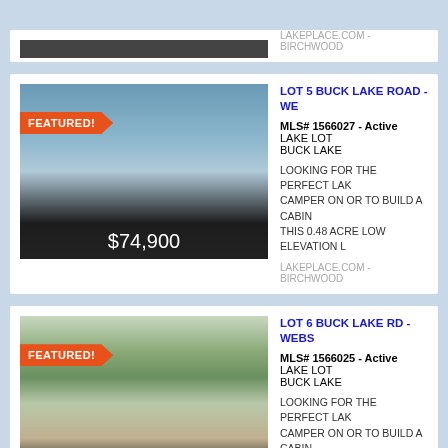[Figure (photo): Partial view of top listing card with lake photo]
LAKEPLACE.COM - BIRCHWOOD
[Figure (photo): Lake lot photo for Lot 5 Buck Lake Road with FEATURED badge and $74,900 price]
LOT 5 BUCK LAKE ROAD - WE...
MLS# 1566027 - Active
LAKE LOT
BUCK LAKE

LOOKING FOR THE PERFECT LAK... CAMPER ON OR TO BUILD A CABIN... THIS 0.48 ACRE LOW ELEVATION L...
LAKEPLACE.COM - BIRCHWOOD
[Figure (photo): Lake lot photo for Lot 6 Buck Lake Rd with FEATURED badge and $74,900 price]
LOT 6 BUCK LAKE RD - WEBS...
MLS# 1566025 - Active
LAKE LOT
BUCK LAKE

LOOKING FOR THE PERFECT LAK... CAMPER ON OR TO BUILD A CABIN... THIS 1.54 ACRE LOW ELEVATION L...
LAKEPLACE.COM - BIRCHWOOD